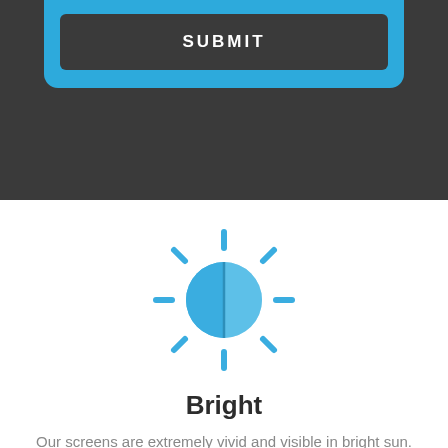[Figure (screenshot): Dark background section with a blue card containing a SUBMIT button at the top of the page]
SUBMIT
[Figure (illustration): Blue sun/brightness icon — a circle half-filled (left half outlined, right half filled) with rays radiating outward at 8 directions]
Bright
Our screens are extremely vivid and visible in bright sun.